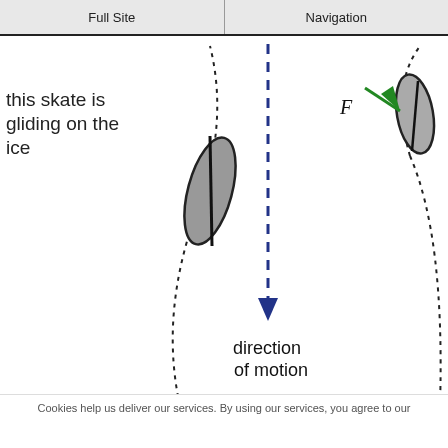Full Site | Navigation
this skate is gliding on the ice
[Figure (illustration): Diagram showing two ice skates gliding on ice with dotted curved paths, a vertical dashed blue arrow pointing downward labeled 'direction of motion', and a green arrow labeled F pointing toward the right skate from upper left.]
Cookies help us deliver our services. By using our services, you agree to our